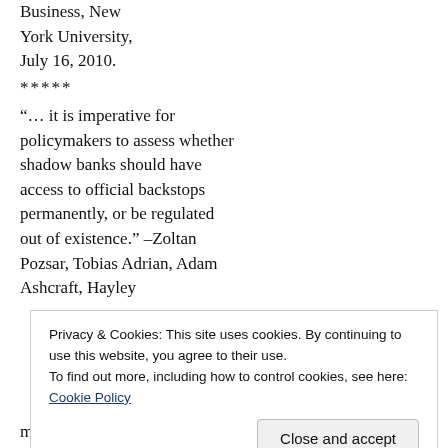Business, New York University, July 16, 2010.
*****
“… it is imperative for policymakers to assess whether shadow banks should have access to official backstops permanently, or be regulated out of existence.” –Zoltan Pozsar, Tobias Adrian, Adam Ashcraft, Hayley
Privacy & Cookies: This site uses cookies. By continuing to use this website, you agree to their use.
To find out more, including how to control cookies, see here: Cookie Policy
Close and accept
market to cease.